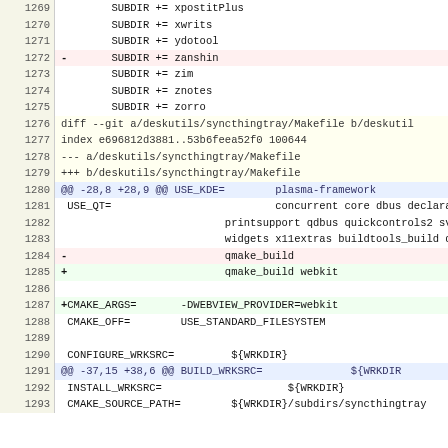Code diff showing Makefile changes for deskutils/syncthingtray, lines 1269-1293
| line | code |
| --- | --- |
| 1269 |         SUBDIR += xpostitPlus |
| 1270 |         SUBDIR += xwrits |
| 1271 |         SUBDIR += ydotool |
| 1272 | -       SUBDIR += zanshin |
| 1273 |         SUBDIR += zim |
| 1274 |         SUBDIR += znotes |
| 1275 |         SUBDIR += zorro |
| 1276 | diff --git a/deskutils/syncthingtray/Makefile b/deskutil |
| 1277 | index e696812d3881..53b6feea52f0 100644 |
| 1278 | --- a/deskutils/syncthingtray/Makefile |
| 1279 | +++ b/deskutils/syncthingtray/Makefile |
| 1280 | @@ -28,8 +28,9 @@ USE_KDE=        plasma-framework |
| 1281 |  USE_QT=                          concurrent core dbus declarative |
| 1282 |                           printsupport qdbus quickcontrols2 svg we |
| 1283 |                           widgets x11extras buildtools_build doc_b |
| 1284 | -                         qmake_build |
| 1285 | +                         qmake_build webkit |
| 1286 |  |
| 1287 | +CMAKE_ARGS=       -DWEBVIEW_PROVIDER=webkit |
| 1288 |  CMAKE_OFF=        USE_STANDARD_FILESYSTEM |
| 1289 |  |
| 1290 |  CONFIGURE_WRKSRC=         ${WRKDIR} |
| 1291 | @@ -37,15 +38,6 @@ BUILD_WRKSRC=              ${WRKDIR |
| 1292 |  INSTALL_WRKSRC=                    ${WRKDIR} |
| 1293 |  CMAKE_SOURCE_PATH=        ${WRKDIR}/subdirs/syncthingtray |